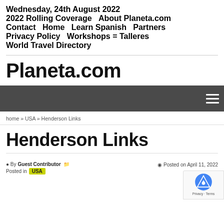Wednesday, 24th August 2022
2022 Rolling Coverage  About Planeta.com
Contact  Home  Learn Spanish  Partners
Privacy Policy  Workshops = Talleres
World Travel Directory
Planeta.com
home » USA » Henderson Links
Henderson Links
By Guest Contributor  Posted in USA  Posted on April 11, 2022